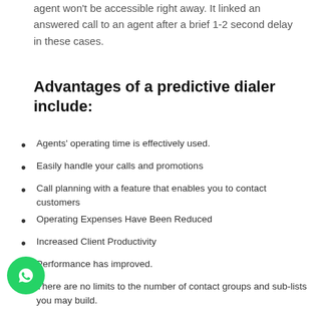agent won't be accessible right away. It linked an answered call to an agent after a brief 1-2 second delay in these cases.
Advantages of a predictive dialer include:
Agents' operating time is effectively used.
Easily handle your calls and promotions
Call planning with a feature that enables you to contact customers
Operating Expenses Have Been Reduced
Increased Client Productivity
Performance has improved.
There are no limits to the number of contact groups and sub-lists you may build.
CRM Connections Fast Search
Importing and exporting is easy.